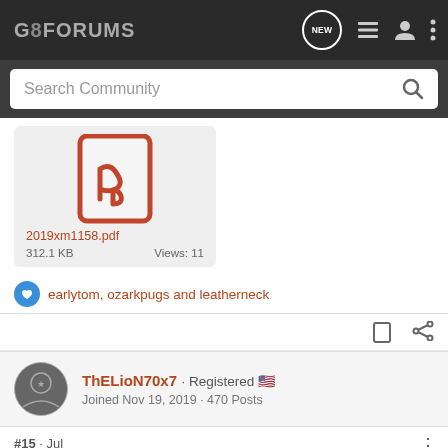G8FORUMS
Search Community
[Figure (other): PDF file attachment card showing Adobe PDF icon, filename 2019xm1158.pdf, size 312.1 KB, Views: 11]
earlytom, ozarkpugs and leatherneck
ThELioN70x7 · Registered · Joined Nov 19, 2019 · 470 Posts
#15 · Jul
[Figure (photo): Advertisement banner: THE BEST STORIES START WITH SAVAGE]
To be cl ... will be